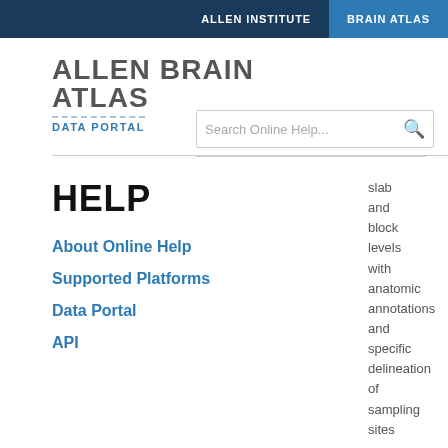ALLEN INSTITUTE   BRAIN ATLAS
ALLEN BRAIN ATLAS
DATA PORTAL
Search Online Help...
HELP
About Online Help
Supported Platforms
Data Portal
API
slab and block levels with anatomic annotations and specific delineation of sampling sites